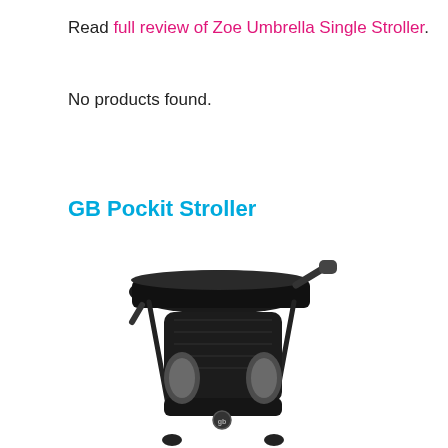Read full review of Zoe Umbrella Single Stroller.
No products found.
GB Pockit Stroller
[Figure (photo): Photo of the GB Pockit Stroller, a compact black stroller with a canopy, handlebar, and padded seat shown from a slight angle.]